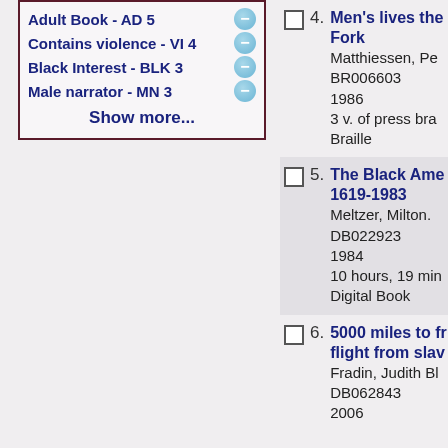Adult Book - AD 5
Contains violence - VI 4
Black Interest - BLK 3
Male narrator - MN 3
Show more...
4. Men's lives the Fork
Matthiessen, Pe
BR006603
1986
3 v. of press bra
Braille
5. The Black Ame 1619-1983
Meltzer, Milton.
DB022923
1984
10 hours, 19 min
Digital Book
6. 5000 miles to fr flight from slav
Fradin, Judith Bl
DB062843
2006